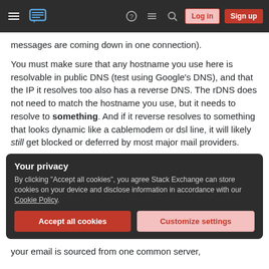Stack Exchange navigation bar with hamburger menu, logo, help, chat, search icons, Log in and Sign up buttons
messages are coming down in one connection).
You must make sure that any hostname you use here is resolvable in public DNS (test using Google's DNS), and that the IP it resolves too also has a reverse DNS. The rDNS does not need to match the hostname you use, but it needs to resolve to something. And if it reverse resolves to something that looks dynamic like a cablemodem or dsl line, it will likely still get blocked or deferred by most major mail providers.
Your privacy
By clicking "Accept all cookies", you agree Stack Exchange can store cookies on your device and disclose information in accordance with our Cookie Policy.
Accept all cookies   Customize settings
your email is sourced from one common server,